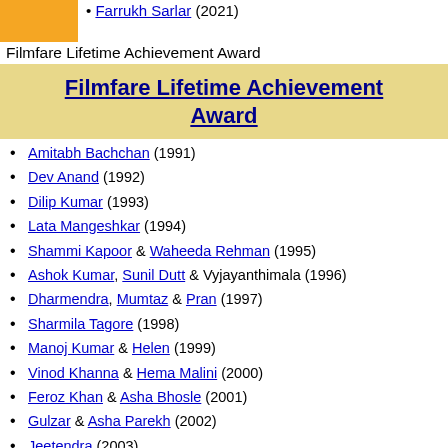[Figure (other): Orange/yellow square image placeholder]
Farrukh Sarlar (2021)
Filmfare Lifetime Achievement Award
Filmfare Lifetime Achievement Award
Amitabh Bachchan (1991)
Dev Anand (1992)
Dilip Kumar (1993)
Lata Mangeshkar (1994)
Shammi Kapoor & Waheeda Rehman (1995)
Ashok Kumar, Sunil Dutt & Vyjayanthimala (1996)
Dharmendra, Mumtaz & Pran (1997)
Sharmila Tagore (1998)
Manoj Kumar & Helen (1999)
Vinod Khanna & Hema Malini (2000)
Feroz Khan & Asha Bhosle (2001)
Gulzar & Asha Parekh (2002)
Jeetendra (2003)
Sulochana Latkar, Nirupa Roy & B. R. Chopra (2004)
Rajesh Khanna (2005)
Shabana Azmi (2006)
Javed Akhtar & Jaya Bachchan (2007)
Rishi Kapoor (2008)
Bhanu Athaiya & Om Puri (2009)
Shashi Kapoor & Khayyam (2010)